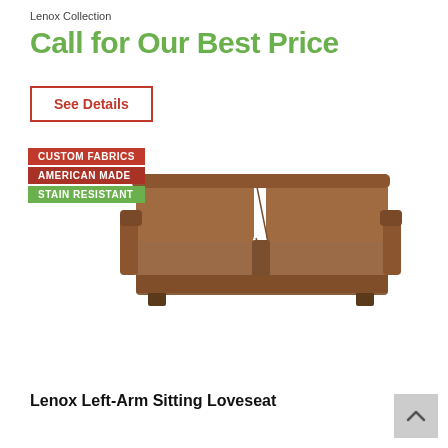Lenox Collection
Call for Our Best Price
See Details
[Figure (photo): Brown upholstered loveseat sofa (Lenox Left-Arm Sitting Loveseat) with two seat cushions and low arms, medium brown fabric, on a white background. Overlaid badges: CUSTOM FABRICS (red), AMERICAN MADE (dark red), STAIN RESISTANT (green).]
Lenox Left-Arm Sitting Loveseat